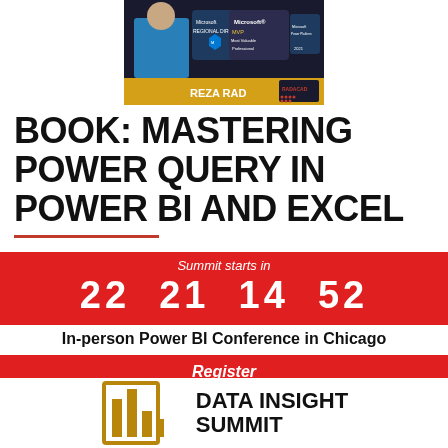[Figure (photo): Profile banner of Reza Rad with Microsoft MVP and Regional Director badges, and RADACAD logo on gold bar]
BOOK: MASTERING POWER QUERY IN POWER BI AND EXCEL
Summit starts in
22  21  14  52
In-person Power BI Conference in Chicago
Register
[Figure (logo): Data Insight Summit logo with golden bar chart icon and text DATA INSIGHT SUMMIT]